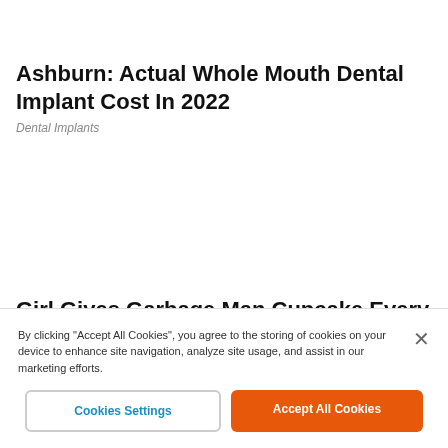Ashburn: Actual Whole Mouth Dental Implant Cost In 2022
Dental Implants
Girl Gives Garbage Man Cupcake Every Week Until Dad Follows Him and Sees Why
By clicking “Accept All Cookies”, you agree to the storing of cookies on your device to enhance site navigation, analyze site usage, and assist in our marketing efforts.
Cookies Settings
Accept All Cookies